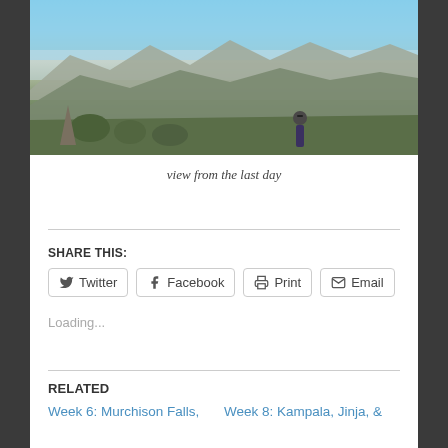[Figure (photo): A woman standing on a mountain overlook with a dramatic valley and rocky mountain range in the background under a hazy blue sky.]
view from the last day
SHARE THIS:
Twitter  Facebook  Print  Email
Loading...
RELATED
Week 6: Murchison Falls,
Week 8: Kampala, Jinja, &